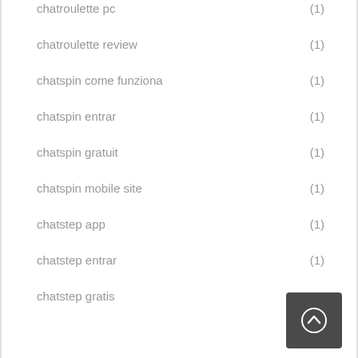chatroulette pc (1)
chatroulette review (1)
chatspin come funziona (1)
chatspin entrar (1)
chatspin gratuit (1)
chatspin mobile site (1)
chatstep app (1)
chatstep entrar (1)
chatstep gratis